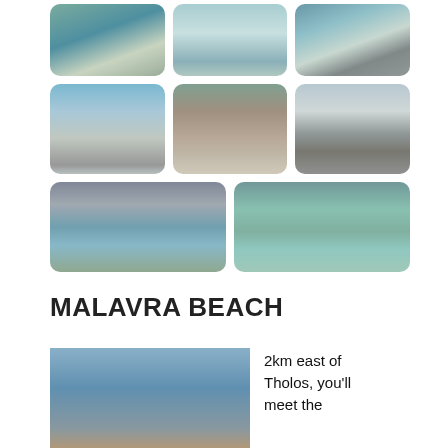[Figure (photo): 3x3 photo grid of beach and coastal landscape photos showing turquoise water, rocky shores, and mountains]
MALAVRA BEACH
[Figure (photo): Coastal landscape photo showing blue sea and rocky hillside]
2km east of Tholos, you'll meet the